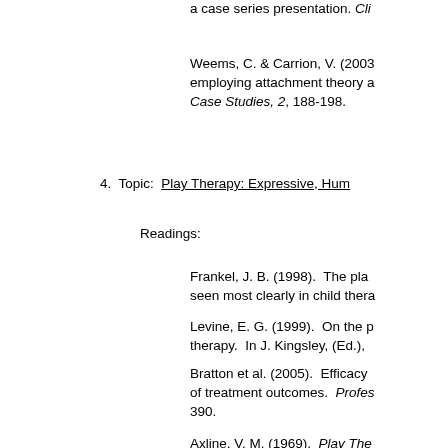a case series presentation. Cli...
Weems, C. & Carrion, V. (2003). employing attachment theory a... Case Studies, 2, 188-198.
4. Topic: Play Therapy: Expressive, Hum...
Readings:
Frankel, J. B. (1998). The pla... seen most clearly in child thera...
Levine, E. G. (1999). On the p... therapy. In J. Kingsley, (Ed.), ...
Bratton et al. (2005). Efficacy... of treatment outcomes. Profes... 390.
Axline, V. M. (1969). Play The... 15, 19.
WINTER SEMESTER
1. Topic: The Psychotherapy Relationsh...
Readings:
Muller (2010), entire book.
2. Topic: Family Therapy I: Structural-S...